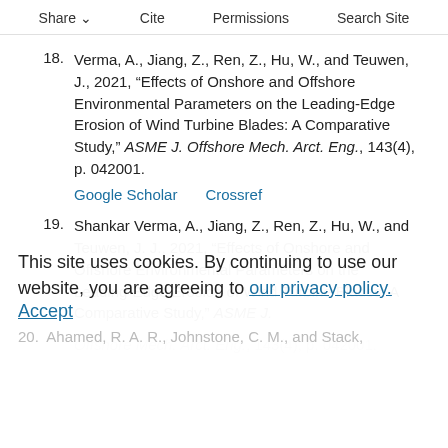Share  Cite  Permissions  Search Site
18. Verma, A., Jiang, Z., Ren, Z., Hu, W., and Teuwen, J., 2021, “Effects of Onshore and Offshore Environmental Parameters on the Leading-Edge Erosion of Wind Turbine Blades: A Comparative Study,” ASME J. Offshore Mech. Arct. Eng., 143(4), p. 042001.
19. Shankar Verma, A., Jiang, Z., Ren, Z., Hu, W., and Teuwen, J. J., 2021, “Effects of Onshore and Offshore Environmental Parameters on the Leading-Edge Erosion of Wind Turbine Blades: A Comparative Study,” ASME J. Offshore Mech. Arct. Eng., 143(4), p. 042001.
This site uses cookies. By continuing to use our website, you are agreeing to our privacy policy. Accept
20. Ahamed, R. A. R., Johnstone, C. M., and Stack,